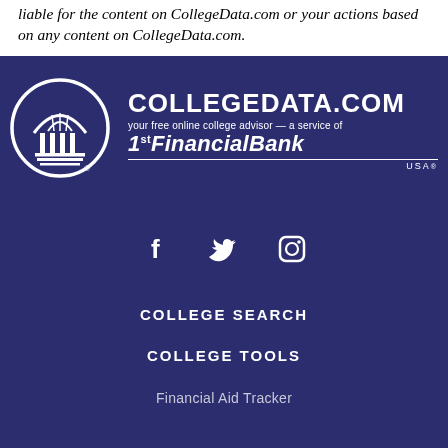liable for the content on CollegeData.com or your actions based on any content on CollegeData.com.
[Figure (logo): CollegeData.com logo with circular building icon, tagline 'your free online college advisor — a service of', and 1st FinancialBank USA branding on dark navy background]
[Figure (infographic): Social media icons: Facebook (f), Twitter (bird), Instagram (camera) in white on dark navy background]
COLLEGE SEARCH
COLLEGE TOOLS
Financial Aid Tracker